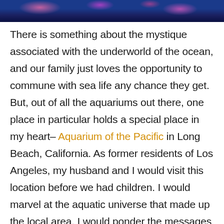[Figure (photo): Aquarium scene with blue-lit underwater coral and sea life visible at the top of the page]
There is something about the mystique associated with the underworld of the ocean, and our family just loves the opportunity to commune with sea life any chance they get. But, out of all the aquariums out there, one place in particular holds a special place in my heart– Aquarium of the Pacific in Long Beach, California. As former residents of Los Angeles, my husband and I would visit this location before we had children. I would marvel at the aquatic universe that made up the local area. I would ponder the messages displayed in the exhibits. And…ultimately, I would leave feeling more in touch with all the inhabitants of our world.